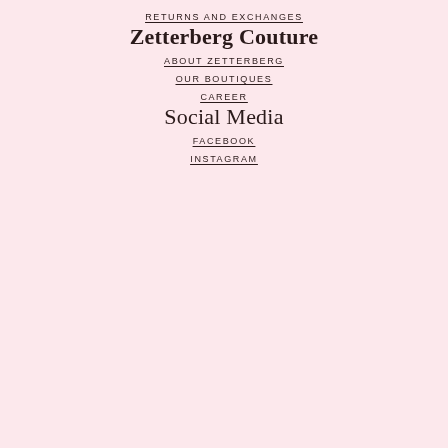RETURNS AND EXCHANGES
Zetterberg Couture
ABOUT ZETTERBERG
OUR BOUTIQUES
CAREER
Social Media
FACEBOOK
INSTAGRAM